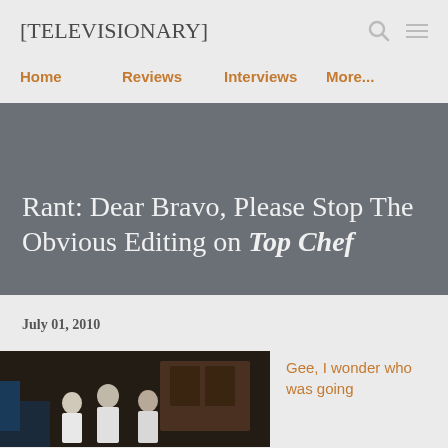[TELEVISIONARY]
Home   Reviews   Interviews   More...
Rant: Dear Bravo, Please Stop The Obvious Editing on Top Chef
July 01, 2010
[Figure (photo): Group of chefs in white uniforms standing in a kitchen setting, dark background]
Gee, I wonder who was going